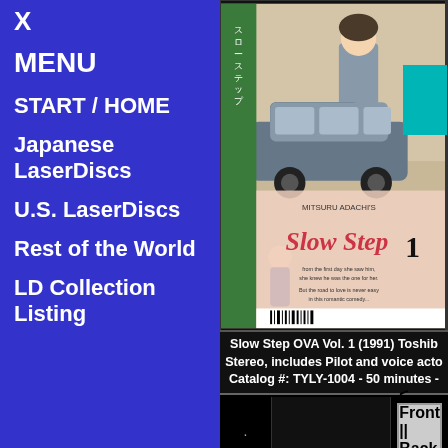X
MENU
START / HOME
Japanese LaserDiscs
U.S. LaserDiscs
Rest of the World
LD Collection Listing
[Figure (photo): Cover of Slow Step OVA Vol. 1 manga/anime laserdisc, showing anime characters. Japanese text and 'MITSURU ADACHI'S Slow Step 1' on cover.]
Slow Step OVA Vol. 1 (1991) Toshib
Stereo, includes Pilot and voice acto
Catalog #: TYLY-1004 - 50 minutes -
< Front || Back >
SM Lesbian 2 | PIAS Video
Analog sound, no chapters, Stend
Catalog #: PL-751 - 60 minutes - ¥
< Front || Back >
Soap no Moko-chan (1996) mint c
Stereo, OBI-strip is missing :(